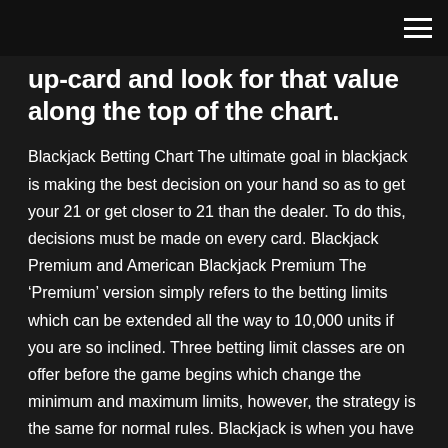up-card and look for that value along the top of the chart.
Blackjack Betting Chart The ultimate goal in blackjack is making the best decision on your hand so as to get your 21 or get closer to 21 than the dealer. To do this, decisions must be made on every card. Blackjack Premium and American Blackjack Premium The ‘Premium’ version simply refers to the betting limits which can be extended all the way to 10,000 units if you are so inclined. Three betting limit classes are on offer before the game begins which change the minimum and maximum limits, however, the strategy is the same for normal rules. Blackjack is when you have an Ace and any card counting as 10. When this happens, you win 2.5x of your stake, unless the dealer also